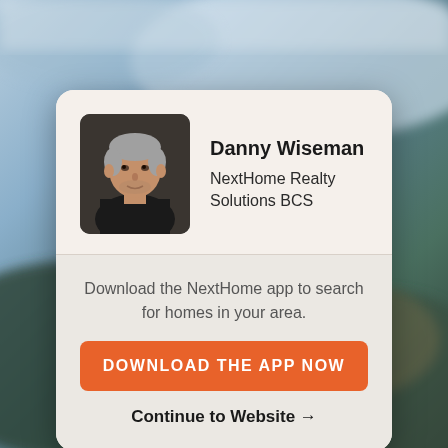[Figure (photo): Blurred outdoor background showing sky and building/foliage]
[Figure (photo): Headshot photo of Danny Wiseman, a man with short gray hair wearing a dark shirt]
Danny Wiseman
NextHome Realty Solutions BCS
Download the NextHome app to search for homes in your area.
DOWNLOAD THE APP NOW
Continue to Website →